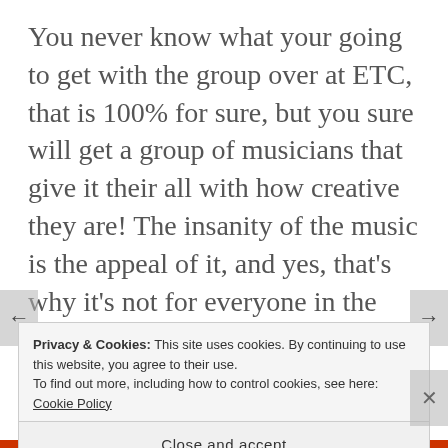You never know what your going to get with the group over at ETC, that is 100% for sure, but you sure will get a group of musicians that give it their all with how creative they are! The insanity of the music is the appeal of it, and yes, that’s why it’s not for everyone in the fandom. Chris and I really agree that ETC is always a treat to listen to, and this album is no different. As always, this Qilin and Mr. C Anderson ask you to stay weird and judge for yourself.
Privacy & Cookies: This site uses cookies. By continuing to use this website, you agree to their use.
To find out more, including how to control cookies, see here: Cookie Policy
Close and accept